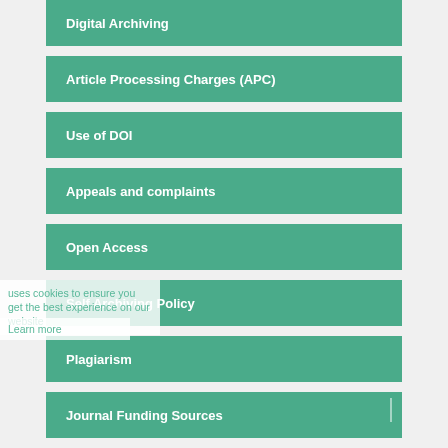Digital Archiving
Article Processing Charges (APC)
Use of DOI
Appeals and complaints
Open Access
Self Archiving Policy
Plagiarism
Journal Funding Sources
Guide for Authors